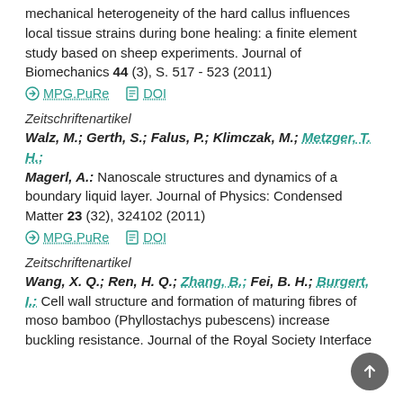mechanical heterogeneity of the hard callus influences local tissue strains during bone healing: a finite element study based on sheep experiments. Journal of Biomechanics 44 (3), S. 517 - 523 (2011)
MPG.PuRe   DOI
Zeitschriftenartikel
Walz, M.; Gerth, S.; Falus, P.; Klimczak, M.; Metzger, T. H.; Magerl, A.: Nanoscale structures and dynamics of a boundary liquid layer. Journal of Physics: Condensed Matter 23 (32), 324102 (2011)
MPG.PuRe   DOI
Zeitschriftenartikel
Wang, X. Q.; Ren, H. Q.; Zhang, B.; Fei, B. H.; Burgert, I.: Cell wall structure and formation of maturing fibres of moso bamboo (Phyllostachys pubescens) increase buckling resistance. Journal of the Royal Society Interface